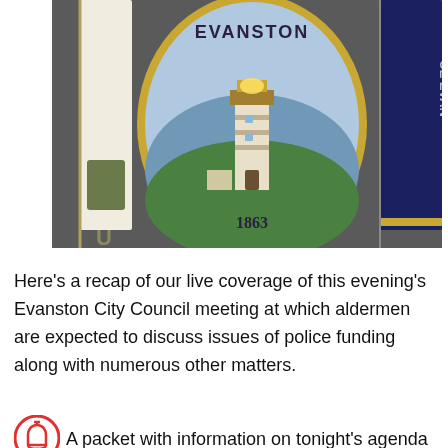[Figure (photo): Photo of the Evanston city seal (oval plaque showing a lighthouse, dated 1863, with 'EVANSTON' text at top) mounted on a dark gray wall, flanked by two flags — a white/green flag on the left and a dark navy blue flag on the right.]
Here's a recap of our live coverage of this evening's Evanston City Council meeting at which aldermen are expected to discuss issues of police funding along with numerous other matters.
A packet with information on tonight's agenda